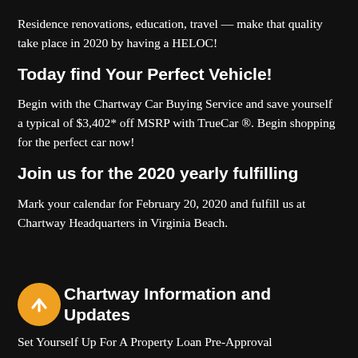Residence renovations, education, travel — make that quality take place in 2020 by having a HELOC!
Today find Your Perfect Vehicle!
Begin with the Chartway Car Buying Service and save yourself a typical of $3,402* off MSRP with TrueCar ®. Begin shopping for the perfect car now!
Join us for the 2020 yearly fulfilling
Mark your calendar for February 20, 2020 and fulfill us at Chartway Headquarters in Virginia Beach.
Chartway Information and Updates
Set Yourself Up For A Property Loan Pre-Approval